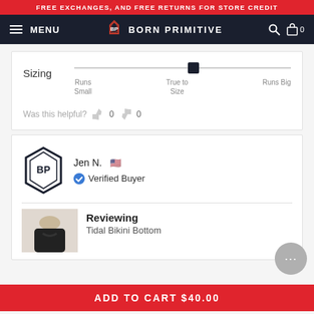FREE EXCHANGES, AND FREE RETURNS FOR STORE CREDIT
MENU | BORN PRIMITIVE
Sizing — Runs Small / True to Size / Runs Big (slider at True to Size)
Was this helpful? 0 thumbs up, 0 thumbs down
Jen N. 🇺🇸
Verified Buyer
Reviewing
Tidal Bikini Bottom